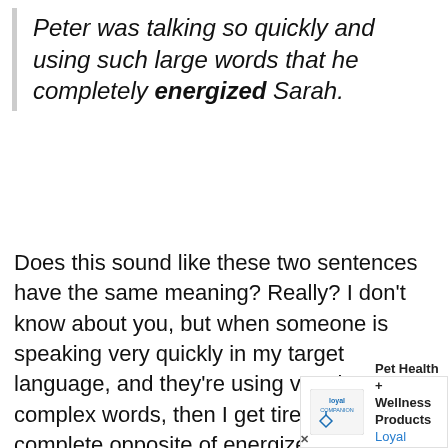Peter was talking so quickly and using such large words that he completely energized Sarah.
Does this sound like these two sentences have the same meaning? Really? I don't know about you, but when someone is speaking very quickly in my target language, and they're using very large, complex words, then I get tired. That's the complete opposite of energized!
[Figure (other): Advertisement banner for Loyal Companion pet health and wellness products, showing logo, text, and a blue diamond-shaped arrow icon.]